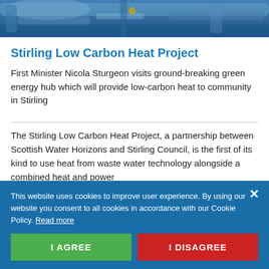[Figure (photo): Top photo strip showing industrial pipes and equipment, blue tones, machinery for a heat project facility]
Stirling Low Carbon Heat Project
First Minister Nicola Sturgeon visits ground-breaking green energy hub which will provide low-carbon heat to community in Stirling
The Stirling Low Carbon Heat Project, a partnership between Scottish Water Horizons and Stirling Council, is the first of its kind to use heat from waste water technology alongside a combined heat and power
This website uses cookies to improve user experience. By using our website you consent to all cookies in accordance with our Cookie Policy. Read more